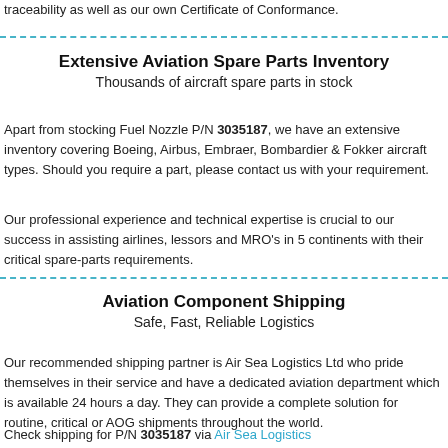traceability as well as our own Certificate of Conformance.
Extensive Aviation Spare Parts Inventory
Thousands of aircraft spare parts in stock
Apart from stocking Fuel Nozzle P/N 3035187, we have an extensive inventory covering Boeing, Airbus, Embraer, Bombardier & Fokker aircraft types. Should you require a part, please contact us with your requirement.
Our professional experience and technical expertise is crucial to our success in assisting airlines, lessors and MRO's in 5 continents with their critical spare-parts requirements.
Aviation Component Shipping
Safe, Fast, Reliable Logistics
Our recommended shipping partner is Air Sea Logistics Ltd who pride themselves in their service and have a dedicated aviation department which is available 24 hours a day. They can provide a complete solution for routine, critical or AOG shipments throughout the world.
Check shipping for P/N 3035187 via Air Sea Logistics